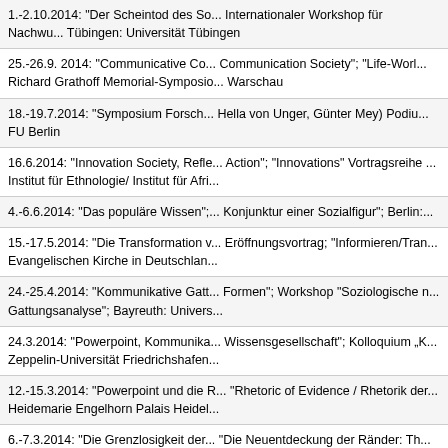1.-2.10.2014: "Der Scheintod des So... Internationaler Workshop für Nachwu... Tübingen: Universität Tübingen
25.-26.9. 2014: "Communicative Co... Communication Society"; "Life-Worl... Richard Grathoff Memorial-Symposio... Warschau
18.-19.7.2014: "Symposium Forsch... Hella von Unger, Günter Mey) Podiu... FU Berlin
16.6.2014: "Innovation Society, Refle... Action"; "Innovations" Vortragsreihe ... Institut für Ethnologie/ Institut für Afri...
4.-6.6.2014: "Das populäre Wissen";... Konjunktur einer Sozialfigur"; Berlin:...
15.-17.5.2014: "Die Transformation v... Eröffnungsvortrag; "Informieren/Tra... Evangelischen Kirche in Deutschlan...
24.-25.4.2014: "Kommunikative Gatt... Formen"; Workshop "Soziologische ... Gattungsanalyse"; Bayreuth: Univer...
24.3.2014: "Powerpoint, Kommunik... Wissensgesellschaft"; Kolloquium „K... Zeppelin-Universität Friedrichshafen...
12.-15.3.2014: "Powerpoint und die ... "Rhetoric of Evidence / Rhetorik der... Heidemarie Engelhorn Palais Heidel...
6.-7.3.2014: "Die Grenzlosigkeit der... "Die Neuentdeckung der Ränder: Th...